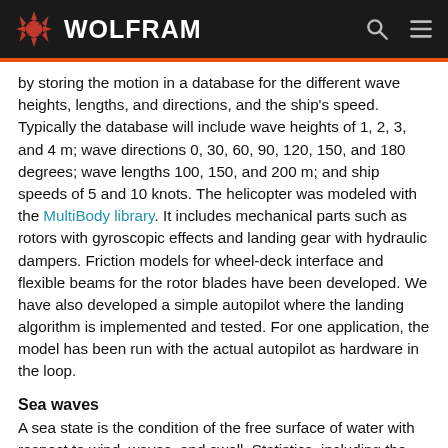WOLFRAM
by storing the motion in a database for the different wave heights, lengths, and directions, and the ship's speed. Typically the database will include wave heights of 1, 2, 3, and 4 m; wave directions 0, 30, 60, 90, 120, 150, and 180 degrees; wave lengths 100, 150, and 200 m; and ship speeds of 5 and 10 knots. The helicopter was modeled with the MultiBody library. It includes mechanical parts such as rotors with gyroscopic effects and landing gear with hydraulic dampers. Friction models for wheel-deck interface and flexible beams for the rotor blades have been developed. We have also developed a simple autopilot where the landing algorithm is implemented and tested. For one application, the model has been run with the actual autopilot as hardware in the loop.
Sea waves
A sea state is the condition of the free surface of water with respect to wind, waves, and swell. Statistics, including the wave height, period, and power spectrum, characterize a sea state. The sea state varies with time, as the wind conditions or swell conditions change. The sea state can either be